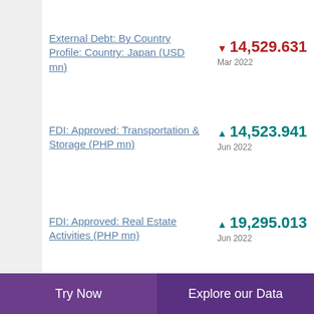External Debt: By Country Profile: Country: Japan (USD mn) ▼ 14,529.631 Mar 2022
FDI: Approved: Transportation & Storage (PHP mn) ▲ 14,523.941 Jun 2022
FDI: Approved: Real Estate Activities (PHP mn) ▲ 19,295.013 Jun 2022
FDI: Approved: Information & Communication (PHP ▼ 19.893 Jun 2022
Try Now | Explore our Data